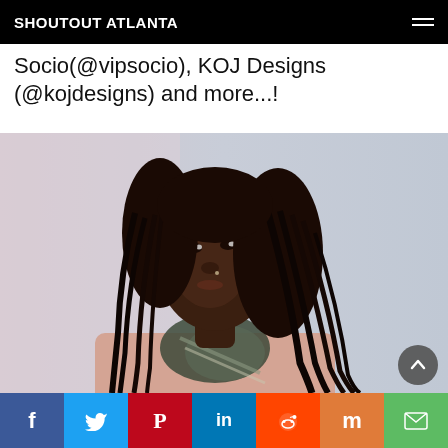SHOUTOUT ATLANTA
Socio(@vipsocio), KOJ Designs (@kojdesigns) and more...!
[Figure (photo): Portrait photo of a young Black woman with long locs, wearing a pink knit sweater and a dark printed scarf, looking upward to the side against a light background.]
Social share buttons: Facebook, Twitter, Pinterest, LinkedIn, Reddit, Mix, Email